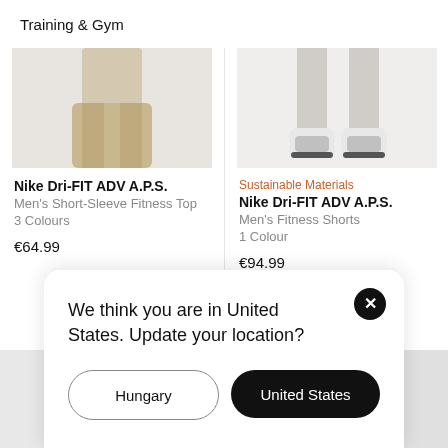Training & Gym
[Figure (photo): Partial photo of a man wearing beige training shorts, cropped at torso]
Nike Dri-FIT ADV A.P.S.
Men's Short-Sleeve Fitness Top
3 Colours
€64.99
[Figure (photo): Partial photo of white Nike training shoes, cropped at legs]
Sustainable Materials
Nike Dri-FIT ADV A.P.S.
Men's Fitness Shorts
1 Colour
€94.99
[Figure (photo): Partial photo of a Nike shoe (teal/green sole), cropped]
We think you are in United States. Update your location?
Hungary
United States